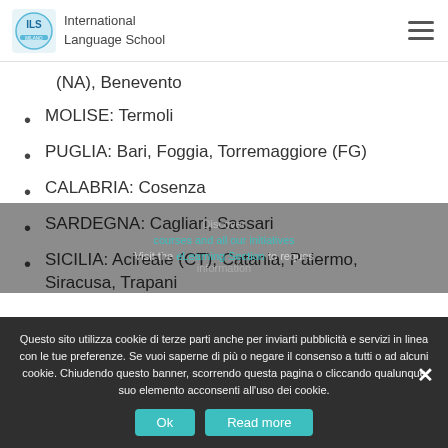ILS International Language School
(NA), Benevento
MOLISE: Termoli
PUGLIA: Bari, Foggia, Torremaggiore (FG)
CALABRIA: Cosenza
SARDEGNA: Cagliari, Sassari
SICILIA: Acireale (CT), Catania, Palermo, Siracusa, Trapani
Questo sito utilizza cookie di terze parti anche per inviarti pubblicità e servizi in linea con le tue preferenze. Se vuoi saperne di più o negare il consenso a tutti o ad alcuni cookie. Chiudendo questo banner, scorrendo questa pagina o cliccando qualunque suo elemento acconsenti all'uso dei cookie.